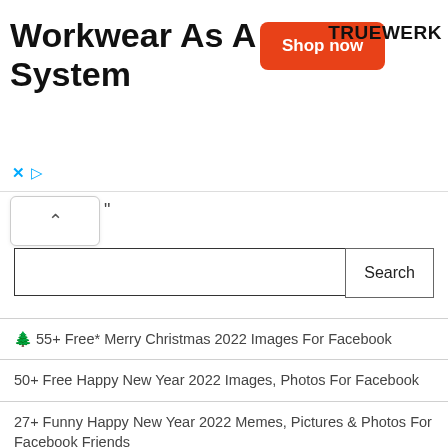[Figure (screenshot): Advertisement banner for TRUEWERK workwear with title 'Workwear As A System', orange 'Shop now' button, and TRUEWERK logo]
[Figure (screenshot): Search input box with a Search button and a small popup/tooltip with up arrow]
🌲 55+ Free* Merry Christmas 2022 Images For Facebook
50+ Free Happy New Year 2022 Images, Photos For Facebook
27+ Funny Happy New Year 2022 Memes, Pictures & Photos For Facebook Friends
57+ Happy New Year 2022 Inspirational Quotes And Sayings For New Journey
55+ Happy New Year 2022 Wishes For Friends, Family, and Everyone